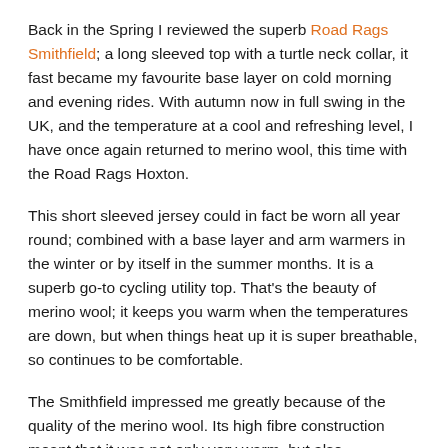Back in the Spring I reviewed the superb Road Rags Smithfield; a long sleeved top with a turtle neck collar, it fast became my favourite base layer on cold morning and evening rides. With autumn now in full swing in the UK, and the temperature at a cool and refreshing level, I have once again returned to merino wool, this time with the Road Rags Hoxton.
This short sleeved jersey could in fact be worn all year round; combined with a base layer and arm warmers in the winter or by itself in the summer months. It is a superb go-to cycling utility top. That's the beauty of merino wool; it keeps you warm when the temperatures are down, but when things heat up it is super breathable, so continues to be comfortable.
The Smithfield impressed me greatly because of the quality of the merino wool. Its high fibre construction meant that it was not only very warm, but also fantastically durable; putting up with machine washes far better than most merino fabrics. The Hoxton is definitely from the same mould; it is not as thick as the Smithfield, but it retains the same high micron count, which makes it durable and soft to the touch. Another top that is built to last.